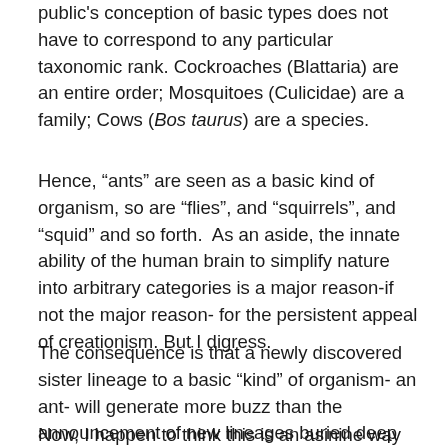public's conception of basic types does not have to correspond to any particular taxonomic rank. Cockroaches (Blattaria) are an entire order; Mosquitoes (Culicidae) are a family; Cows (Bos taurus) are a species.
Hence, “ants” are seen as a basic kind of organism, so are “flies”, and “squirrels”, and “squid” and so forth.  As an aside, the innate ability of the human brain to simplify nature into arbitrary categories is a major reason-if not the major reason- for the persistent appeal of creationism. But I digress.
The consequence is that a newly discovered sister lineage to a basic “kind” of organism- an ant- will generate more buzz than the announcement of new lineages buried deep within another basic “kind” or organism- a fly.
Now, I happen to think this is an asinine way to approach